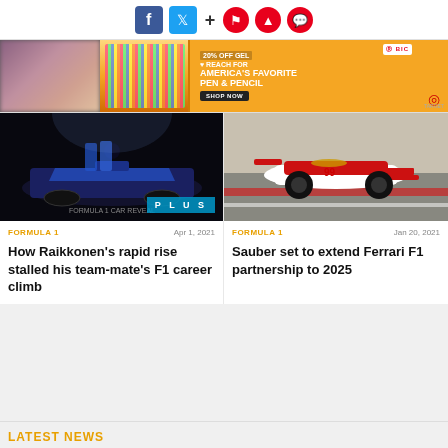[Figure (screenshot): Social media toolbar with Facebook, Twitter, plus sign, and three red circular icons (bookmark, bell, chat)]
[Figure (screenshot): BIC advertisement banner: '20% OFF GEL - REACH FOR AMERICA'S FAVORITE PEN & PENCIL - SHOP NOW' with pens image on orange background, Target logo, X close button on left]
[Figure (photo): F1 car reveal event in dark setting, people in blue racing suits standing next to a blue Formula 1 car on a display platform, PLUS badge overlay]
[Figure (photo): Red and white Alfa Romeo F1 car (number 99) racing on track]
FORMULA 1   Apr 1, 2021
How Raikkonen's rapid rise stalled his team-mate's F1 career climb
FORMULA 1   Jan 20, 2021
Sauber set to extend Ferrari F1 partnership to 2025
LATEST NEWS